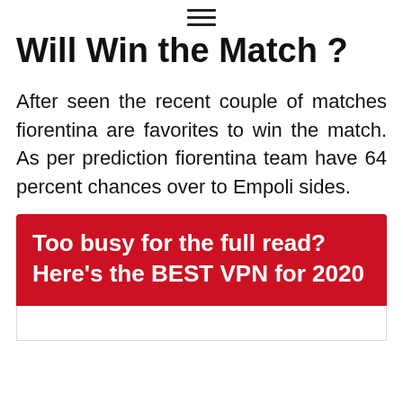≡
Will Win the Match ?
After seen the recent couple of matches fiorentina are favorites to win the match. As per prediction fiorentina team have 64 percent chances over to Empoli sides.
Too busy for the full read? Here's the BEST VPN for 2020